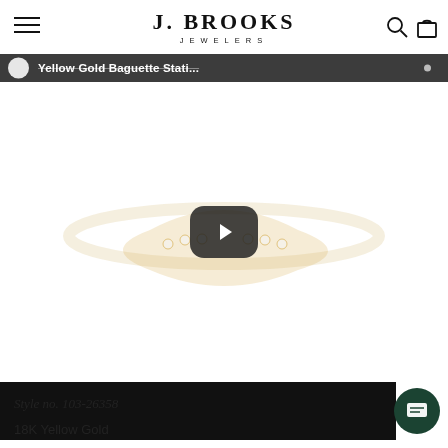J. BROOKS JEWELERS
[Figure (screenshot): Product video thumbnail showing a yellow gold baguette station ring with diamonds, with a play button overlay and video title bar reading 'Yellow Gold Baguette Stati...']
[Figure (photo): Dark/black thumbnail image at the bottom of the product image carousel]
Style no. 103-26358
18K Yellow Gold